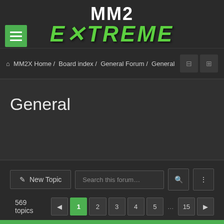[Figure (logo): MM2 EXTREME logo with white MM2 text on top and green stylized EXTREME text below with slash/X graphic element]
[Figure (infographic): Green hamburger menu button with three white horizontal lines]
⌂  MM2X Home /  Board index /  General Forum /  General
General
+ New Topic   Search this forum…
569 topics   ◀ 1 2 3 4 5 … 15 ▶